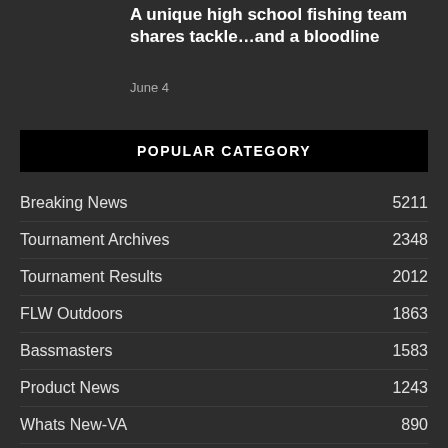A unique high school fishing team shares tackle…and a bloodline
June 4
POPULAR CATEGORY
Breaking News 5211
Tournament Archives 2348
Tournament Results 2012
FLW Outdoors 1863
Bassmasters 1583
Product News 1243
Whats New-VA 890
VA Tournament Results 691
Whats New-NC 547